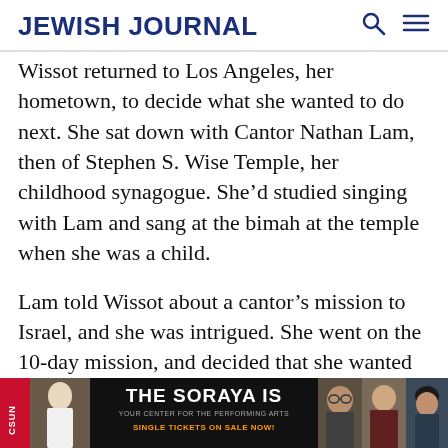JEWISH JOURNAL
Wissot returned to Los Angeles, her hometown, to decide what she wanted to do next. She sat down with Cantor Nathan Lam, then of Stephen S. Wise Temple, her childhood synagogue. She’d studied singing with Lam and sang at the bimah at the temple when she was a child.

Lam told Wissot about a cantor’s mission to Israel, and she was intrigued. She went on the 10-day mission, and decided that she wanted to become a cantor.
[Figure (photo): Advertisement banner for The Soraya performing arts center at CSUN. Black background with red CSUN strip on left, a woman in white dress photo, large white text 'THE SORAYA IS', subtitle 'YOUR CENTER FOR THE PERFORMING ARTS', orange text 'SINGLE TICKETS ON SALE NOW!', and photos of performers on the right.]